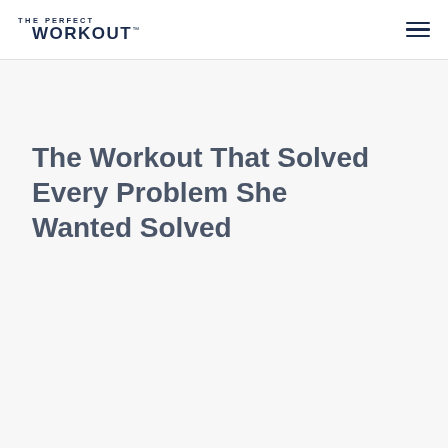THE PERFECT WORKOUT™
The Workout That Solved Every Problem She Wanted Solved